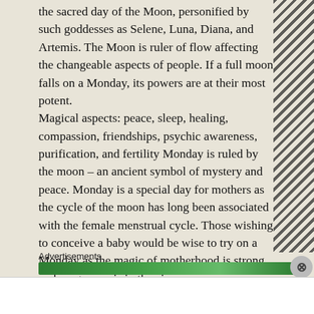the sacred day of the Moon, personified by such goddesses as Selene, Luna, Diana, and Artemis. The Moon is ruler of flow affecting the changeable aspects of people. If a full moon falls on a Monday, its powers are at their most potent.
Magical aspects: peace, sleep, healing, compassion, friendships, psychic awareness, purification, and fertility Monday is ruled by the moon – an ancient symbol of mystery and peace. Monday is a special day for mothers as the cycle of the moon has long been associated with the female menstrual cycle. Those wishing to conceive a baby would be wise to try on a Monday as the magic of motherhood is strong and pregnancy is in the air.
Advertisements
Advertisements
[Figure (infographic): Macy's advertisement banner: red background with text 'KISS BORING LIPS GOODBYE', woman's face with red lips, SHOP NOW button, and Macy's star logo]